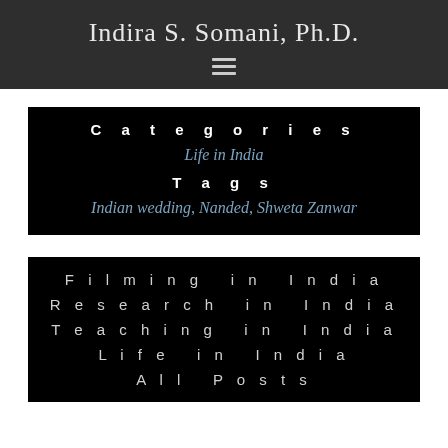Indira S. Somani, Ph.D.
Categories
Life in India
Tags
Indian wedding, Nanded, Shweta Zanwar
Filming in India
Research in India
Teaching in India
Life in India
All Posts